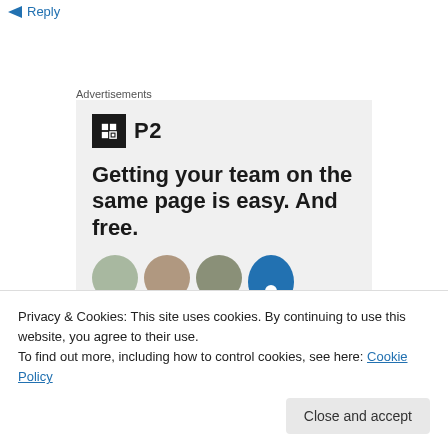Reply
Advertisements
[Figure (other): Advertisement for P2 product showing logo, headline 'Getting your team on the same page is easy. And free.' with user avatars]
Privacy & Cookies: This site uses cookies. By continuing to use this website, you agree to their use.
To find out more, including how to control cookies, see here: Cookie Policy
Close and accept
abide by the 2014 code. I never thought I'd have